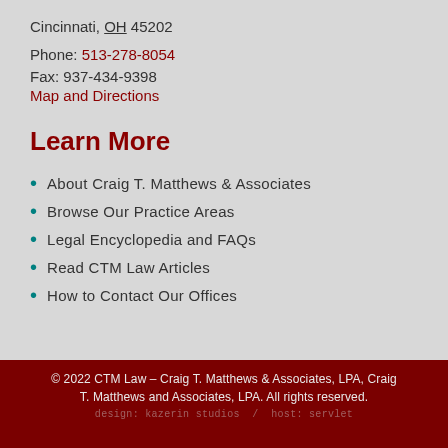Cincinnati, OH 45202
Phone: 513-278-8054
Fax: 937-434-9398
Map and Directions
Learn More
About Craig T. Matthews & Associates
Browse Our Practice Areas
Legal Encyclopedia and FAQs
Read CTM Law Articles
How to Contact Our Offices
© 2022 CTM Law – Craig T. Matthews & Associates, LPA, Craig T. Matthews and Associates, LPA. All rights reserved.
design: kazerin studios / host: servlet